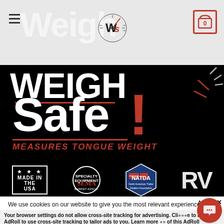[Figure (screenshot): Website header for Weigh Safe with hamburger menu, WS speedometer logo, and shopping cart icon (0 items)]
[Figure (screenshot): Weigh Safe hero banner on black background showing 'Weigh Safe!' in large white/red text with 'MEASURES TONGUE WEIGHT' tagline and speed gauge decoration]
[Figure (logo): Association logos row: Made in the USA star box, SEMA circle logo, NATDA North American Trailer Dealers Association badge, RV Industry logo]
We use cookies on our website to give you the most relevant experience by remembering your preferences and repeat visits. By clicking "Accept", you consent to the use of ALL the cookies.
Do not sell my personal information.
Your browser settings do not allow cross-site tracking for advertising. Click here to allow AdRoll to use cross-site tracking to tailor ads to you. Learn more of this AdRoll tracking by clicking here. This message only appears once.